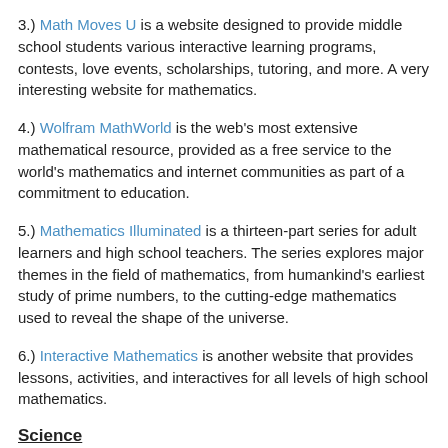3.) Math Moves U is a website designed to provide middle school students various interactive learning programs, contests, love events, scholarships, tutoring, and more.  A very interesting website for mathematics.
4.) Wolfram MathWorld is the web's most extensive mathematical resource, provided as a free service to the world's mathematics and internet communities as part of a commitment to education.
5.) Mathematics Illuminated is a thirteen-part series for adult learners and high school teachers. The series explores major themes in the field of mathematics, from humankind's earliest study of prime numbers, to the cutting-edge mathematics used to reveal the shape of the universe.
6.) Interactive Mathematics is another website that provides lessons, activities, and interactives for all levels of high school mathematics.
Science